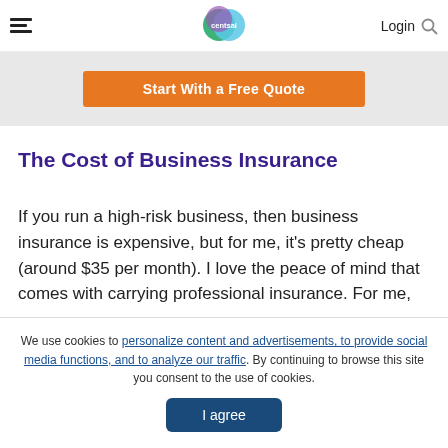CentSai — Login
[Figure (other): Orange button partially visible: 'Start With a Free Quote']
The Cost of Business Insurance
If you run a high-risk business, then business insurance is expensive, but for me, it's pretty cheap (around $35 per month). I love the peace of mind that comes with carrying professional insurance. For me,
We use cookies to personalize content and advertisements, to provide social media functions, and to analyze our traffic. By continuing to browse this site you consent to the use of cookies. I agree